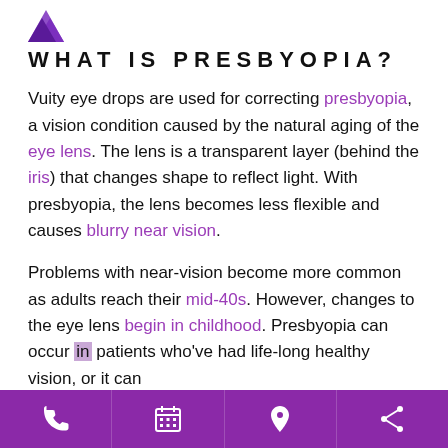[Figure (logo): Purple geometric logo icon (two triangular/arrow shapes)]
WHAT IS PRESBYOPIA?
Vuity eye drops are used for correcting presbyopia, a vision condition caused by the natural aging of the eye lens. The lens is a transparent layer (behind the iris) that changes shape to reflect light. With presbyopia, the lens becomes less flexible and causes blurry near vision.
Problems with near-vision become more common as adults reach their mid-40s. However, changes to the eye lens begin in childhood. Presbyopia can occur in patients who've had life-long healthy vision, or it can
[Figure (infographic): Bottom navigation bar with four icons: phone, calendar, location pin, share — on a purple background]